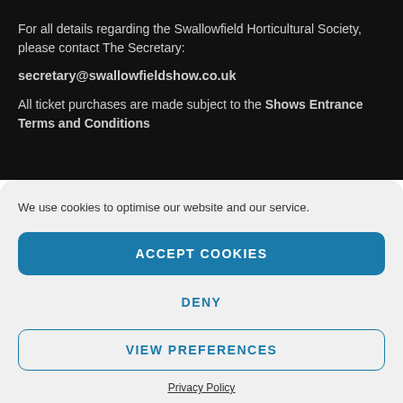For all details regarding the Swallowfield Horticultural Society, please contact The Secretary:
secretary@swallowfieldshow.co.uk
All ticket purchases are made subject to the Shows Entrance Terms and Conditions
We use cookies to optimise our website and our service.
ACCEPT COOKIES
DENY
VIEW PREFERENCES
Privacy Policy